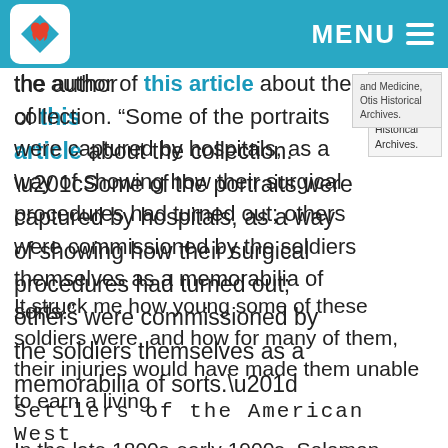MENU
and Medicine, Otis Historical Archives.
the author of this article about the collection. “Some of the portraits were captured by hospitals, as a way of showing how their surgical procedures had turned out; others were commissioned by the soldiers themselves as a memorabilia of sorts.”
It struck me how young some of these soldiers were, and how for many of them, their injuries would have made them unable to earn a living.
Settlers of the American West
In the late 1800s-early 1900s, Solomon Butcher photographed settlers of the Great Plains of the American West. Aware that he was capturing